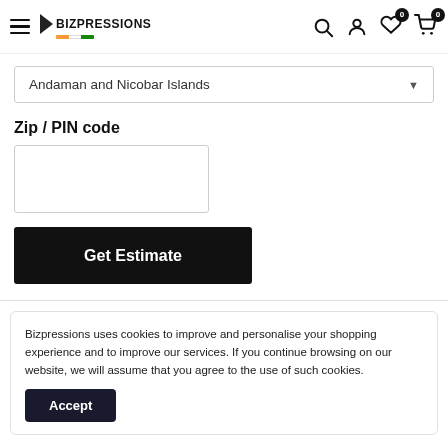BIZPRESSIONS — navigation header with hamburger menu, logo, search, account, wishlist (0), cart (0)
Andaman and Nicobar Islands
Zip / PIN code
[Figure (screenshot): Empty text input field for ZIP/PIN code entry]
[Figure (screenshot): Black 'Get Estimate' button]
Bizpressions uses cookies to improve and personalise your shopping experience and to improve our services. If you continue browsing on our website, we will assume that you agree to the use of such cookies.
[Figure (screenshot): Black 'Accept' button for cookie consent]